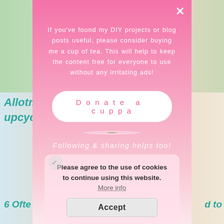[Figure (screenshot): Blog website background with garden/allotment images and teal italic heading text partially visible behind modal. Bottom shows partial blog post thumbnail images.]
If you've found my DIY projects or blog posts useful, please consider buying me a cup of tea. This will help to keep the content free for everyone to use without any irritating ads!
Donate a cuppa
[Figure (photo): Circular photo of a cup of tea with biscuits on a saucer, set on a garden table with green background]
Following & sharing helps too!
Please agree to the use of cookies to continue using this website. More info
Accept